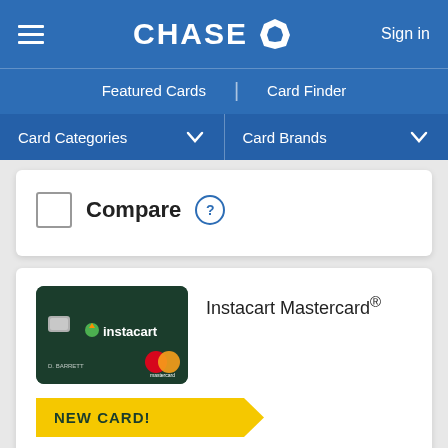CHASE | Featured Cards | Card Finder | Card Categories | Card Brands | Sign in
Compare ?
[Figure (screenshot): Instacart Mastercard credit card image on dark green background with Instacart logo and Mastercard logo]
Instacart Mastercard®
NEW CARD!